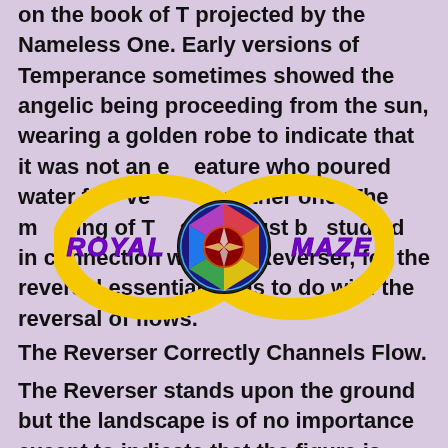on the book of T projected by the Nameless One. Early versions of Temperance sometimes showed the angelic being proceeding from the sun, wearing a golden robe to indicate that it was not an earthly creature who poured water from one vessel to another one. The meaning of Temperance must be studied in connection with the Reverser, for the reversal essentially has to do with the reversal of flows.
[Figure (logo): Royal Maze logo: infinity symbol in yellow/gold with a circular mandala/compass rose in the center, text ROYAL MAZE in bold purple/violet font]
The Reverser Correctly Channels Flow.
The Reverser stands upon the ground but the landscape is of no importance except to indicate that the figure is upon the earth, not in the sky. The reverser sees and is and